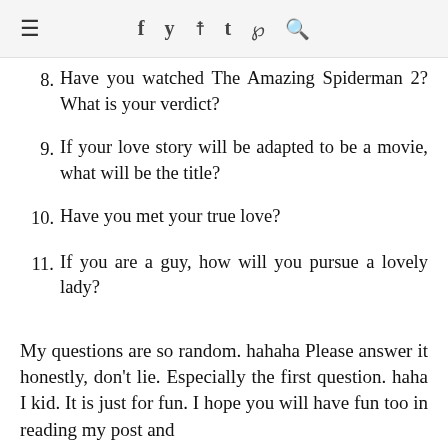≡  f  𝕥  t  ℘  🔍
8. Have you watched The Amazing Spiderman 2? What is your verdict?
9. If your love story will be adapted to be a movie, what will be the title?
10. Have you met your true love?
11. If you are a guy, how will you pursue a lovely lady?
My questions are so random. hahaha Please answer it honestly, don't lie. Especially the first question. haha I kid. It is just for fun. I hope you will have fun too in reading my post and